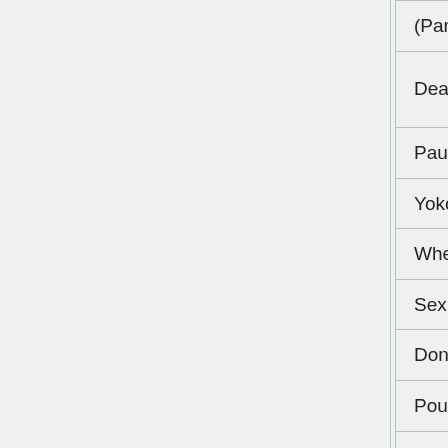| Game Title | Genre |
| --- | --- |
| (Partial) 2 |  |
| Dead Frontier: Outbreak | Choose Your Own Adventure |
| Pause Ahead | Platformer |
| Yoko Littner Interactive Animation | Adult |
| Where is 2010? | Adventure |
| Sex Kitten RPG2: MindFuck | Adult |
| Don't Shoot The Puppy | Toy |
| Pour the Fish Level Pack | Puzzle |
| Bite Jacker | Shooter |
| Pico Sim Date | Dating Sim |
| Bloons: Insanity | Puzzle |
| Frost Bite (Funbrain) | Arcade |